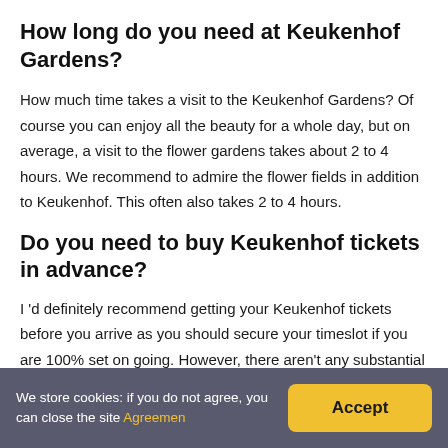How long do you need at Keukenhof Gardens?
How much time takes a visit to the Keukenhof Gardens? Of course you can enjoy all the beauty for a whole day, but on average, a visit to the flower gardens takes about 2 to 4 hours. We recommend to admire the flower fields in addition to Keukenhof. This often also takes 2 to 4 hours.
Do you need to buy Keukenhof tickets in advance?
I 'd definitely recommend getting your Keukenhof tickets before you arrive as you should secure your timeslot if you are 100% set on going. However, there aren't any substantial discounts for booking really far in advance.
We store cookies: if you do not agree, you can close the site Agreemen
Accept